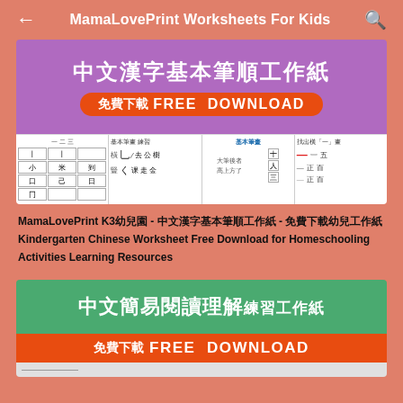← MamaLovePrint Worksheets For Kids 🔍
[Figure (illustration): Purple banner with Chinese title 中文漢字基本筆順工作紙, red FREE DOWNLOAD button, and sample worksheet previews below]
MamaLovePrint K3幼兒園 - 中文漢字基本筆順工作紙 - 免費下載幼兒工作紙 Kindergarten Chinese Worksheet Free Download for Homeschooling Activities Learning Resources
[Figure (illustration): Green banner with Chinese title 中文簡易閱讀理解練習工作紙 and red 免費下載 FREE DOWNLOAD button]